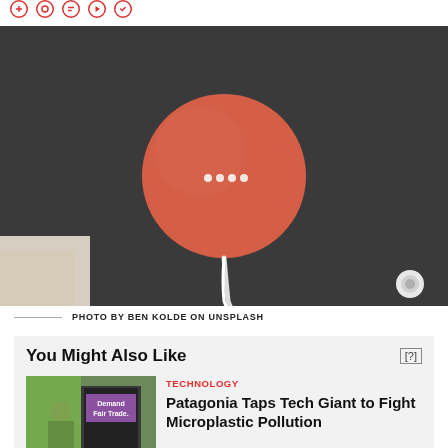Social icons row
[Figure (photo): Google Home Mini smart speaker in coral/salmon color on a dark gray textured surface, with a white charging cable and a white earbud visible in the corner]
PHOTO BY BEN KOLDE ON UNSPLASH
You Might Also Like
[Figure (photo): Person outside a storefront with a sign reading 'Demand Fair Trade.' wearing a dark jacket]
TECHNOLOGY
Patagonia Taps Tech Giant to Fight Microplastic Pollution